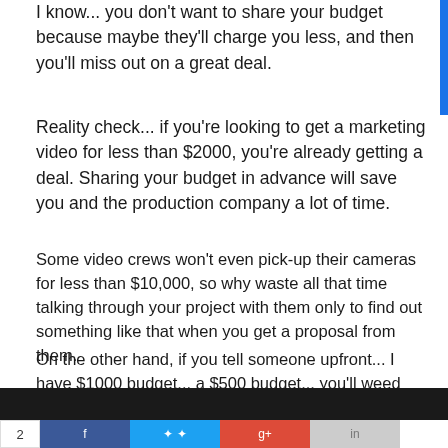I know... you don't want to share your budget because maybe they'll charge you less, and then you'll miss out on a great deal.
Reality check... if you're looking to get a marketing video for less than $2000, you're already getting a deal. Sharing your budget in advance will save you and the production company a lot of time.
Some video crews won't even pick-up their cameras for less than $10,000, so why waste all that time talking through your project with them only to find out something like that when you get a proposal from them.
On the other hand, if you tell someone upfront... I have $1000 budget... a $500 budget... you'll weed through production companies much more quickly.
[Figure (photo): Dark photo of camera equipment at the bottom of the page with social share bar below]